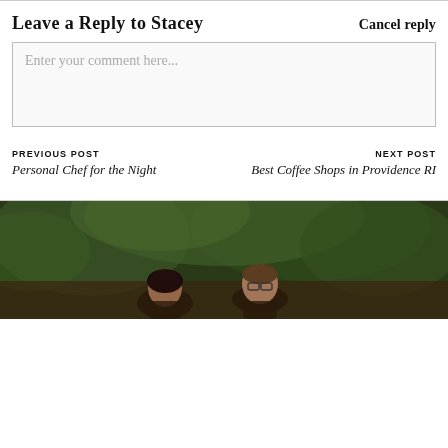Leave a Reply to Stacey
Cancel reply
Enter your comment here...
PREVIOUS POST
Personal Chef for the Night
NEXT POST
Best Coffee Shops in Providence RI
[Figure (photo): Photo of two people (a woman on the left and a man with glasses on the right) standing outdoors in front of green foliage, with a warm dark toned background. Only the upper portions/heads are visible at the bottom of the frame.]